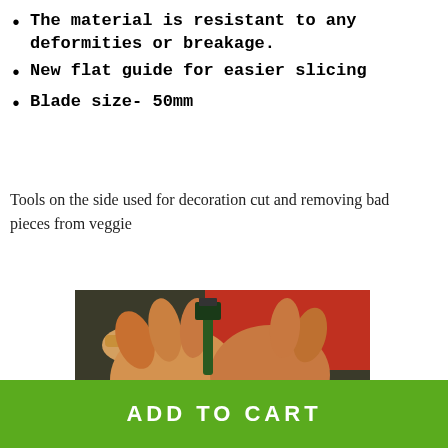The material is resistant to any deformities or breakage.
New flat guide for easier slicing
Blade size- 50mm
Tools on the side used for decoration cut and removing bad pieces from veggie
[Figure (photo): Hands holding a small round vegetable (cucumber or similar) and a decorative cutting tool, carving a flower pattern into it. Person wearing red shirt and a watch.]
[Figure (photo): Partial view of another photo below the main image (cropped at bottom).]
ADD TO CART